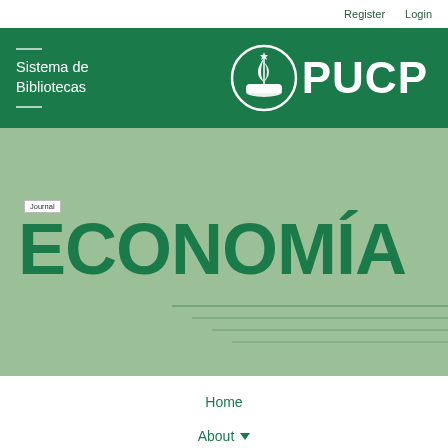Register   Login
[Figure (logo): PUCP Sistema de Bibliotecas header with green background, ship logo and PUCP wordmark in white]
[Figure (illustration): Green banner with decorative lines and Journal ECONOMÍA title in dark green bold text on sage green background]
Journal
ECONOMÍA
Home
About ▾